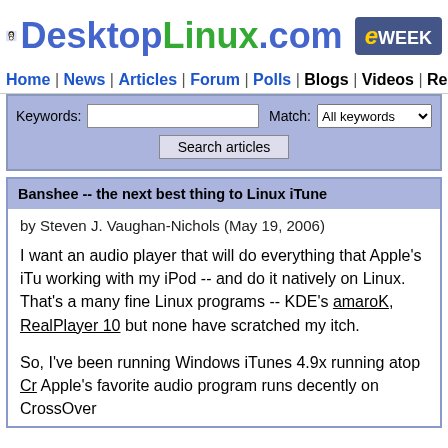[Figure (logo): DesktopLinux.com logo with Tux penguin mascot and eWEEK badge]
Home | News | Articles | Forum | Polls | Blogs | Videos | Resources
Keywords: [search input] Match: All keywords [Search articles button]
Banshee -- the next best thing to Linux iTunes
by Steven J. Vaughan-Nichols (May 19, 2006)
I want an audio player that will do everything that Apple's iTunes does, including working with my iPod -- and do it natively on Linux. That's asking a lot. I've tried many fine Linux programs -- KDE's amaroK, RealPlayer 10 -- but none have scratched my itch.
So, I've been running Windows iTunes 4.9x running atop CrossOver. Apple's favorite audio program runs decently on CrossOver